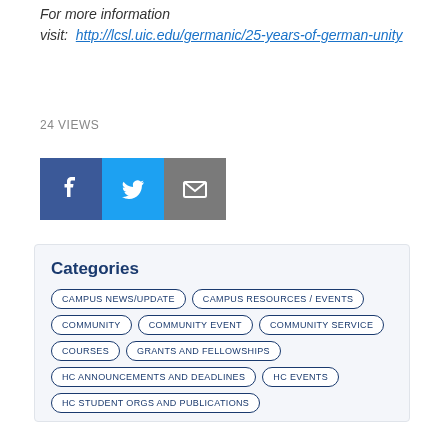For more information visit:  http://lcsl.uic.edu/germanic/25-years-of-german-unity
24 VIEWS
[Figure (infographic): Social share buttons: Facebook (dark blue), Twitter (light blue), Email (gray)]
Categories
CAMPUS NEWS/UPDATE
CAMPUS RESOURCES / EVENTS
COMMUNITY
COMMUNITY EVENT
COMMUNITY SERVICE
COURSES
GRANTS AND FELLOWSHIPS
HC ANNOUNCEMENTS AND DEADLINES
HC EVENTS
HC STUDENT ORGS AND PUBLICATIONS